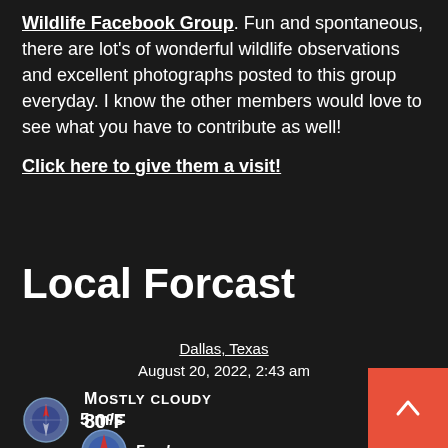Wildlife Facebook Group. Fun and spontaneous, there are lot's of wonderful wildlife observations and excellent photographs posted to this group everyday. I know the other members would love to see what you have to contribute as well!
Click here to give them a visit!
Local Forcast
Dallas, Texas
August 20, 2022, 2:43 am
Mostly cloudy
80°F
5 m/s